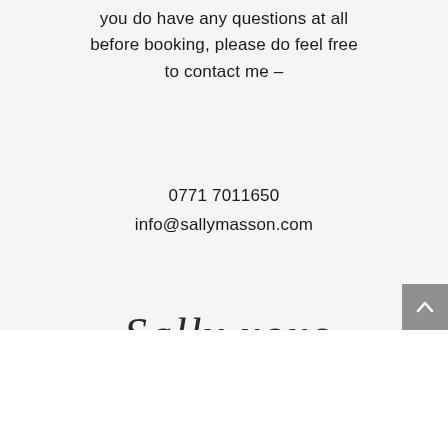you do have any questions at all before booking, please do feel free to contact me –
0771 7011650
info@sallymasson.com
[Figure (illustration): Handwritten cursive signature reading 'Sally xoxo']
[Figure (other): Grey scroll-to-top button with upward caret arrow, positioned bottom right]